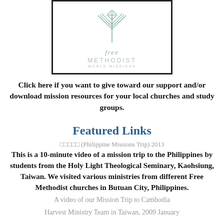[Figure (logo): Free Methodist World Missions logo with stylized hands/leaves graphic above text reading 'free METHODIST WORLD MISSIONS' inside a black border box]
Click here if you want to give toward our support and/or download mission resources for your local churches and study groups.
Featured Links
□□□□□ (Philippine Missions Trip) 2013
This is a 10-minute video of a mission trip to the Philippines by students from the Holy Light Theological Seminary, Kaohsiung, Taiwan. We visited various ministries from different Free Methodist churches in Butuan City, Philippines.
A video of our Mission Trip to Cambodia
Harvest Ministry Team in Taiwan, 2009 January